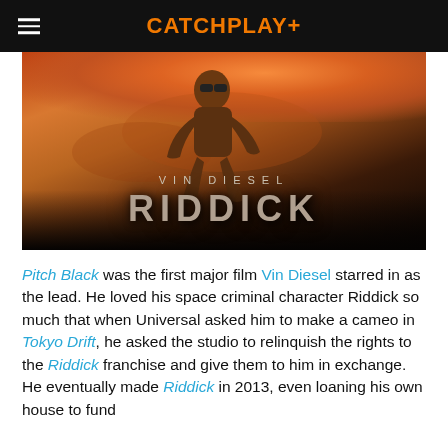CATCHPLAY+
[Figure (photo): Movie poster for Riddick (2013) featuring Vin Diesel crouching in action pose with the title text 'VIN DIESEL' and 'RIDDICK' against a dusty orange/red desert sky background.]
Pitch Black was the first major film Vin Diesel starred in as the lead. He loved his space criminal character Riddick so much that when Universal asked him to make a cameo in Tokyo Drift, he asked the studio to relinquish the rights to the Riddick franchise and give them to him in exchange. He eventually made Riddick in 2013, even loaning his own house to fund